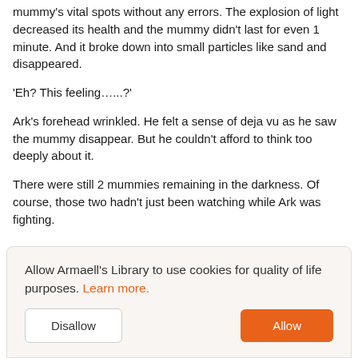mummy's vital spots without any errors. The explosion of light decreased its health and the mummy didn't last for even 1 minute. And it broke down into small particles like sand and disappeared.
'Eh? This feeling…...?'
Ark's forehead wrinkled. He felt a sense of deja vu as he saw the mummy disappear. But he couldn't afford to think too deeply about it.
There were still 2 mummies remaining in the darkness. Of course, those two hadn't just been watching while Ark was fighting.
Allow Armaell's Library to use cookies for quality of life purposes. Learn more. [Disallow] [Allow]